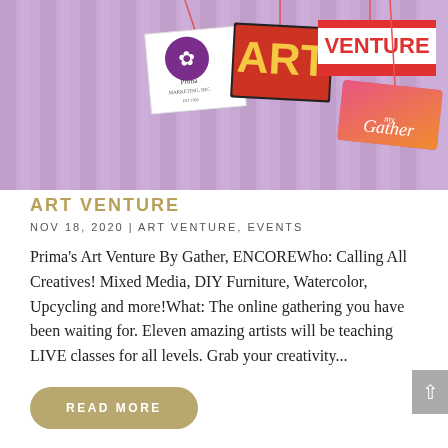[Figure (illustration): Art Venture by Gather event banner showing signs hanging from a purple/lavender curtain background. Signs include Prima Marketing Inc logo, colorful ART sign, VENTURE sign in red/white stripes, and myGather script logo on pink/orange gradient.]
ART VENTURE
NOV 18, 2020 | ART VENTURE, EVENTS
Prima's Art Venture By Gather, ENCOREWho: Calling All Creatives! Mixed Media, DIY Furniture, Watercolor, Upcycling and more!What: The online gathering you have been waiting for. Eleven amazing artists will be teaching LIVE classes for all levels. Grab your creativity...
READ MORE